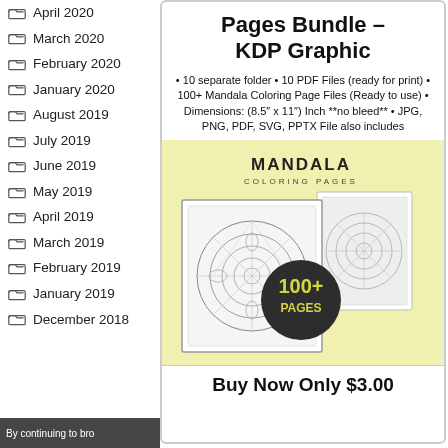April 2020
March 2020
February 2020
January 2020
August 2019
July 2019
June 2019
May 2019
April 2019
March 2019
February 2019
January 2019
December 2018
Pages Bundle – KDP Graphic
• 10 separate folder • 10 PDF Files (ready for print) • 100+ Mandala Coloring Page Files (Ready to use) • Dimensions: (8.5″ x 11″) Inch **no bleed** • JPG, PNG, PDF, SVG, PPTX File also includes
[Figure (illustration): Mandala Coloring Pages product image showing stacked coloring pages with mandala designs and a dark circular badge reading 100+ PAGES, on a pale yellow background]
Buy Now Only $3.00
By continuing to bro...